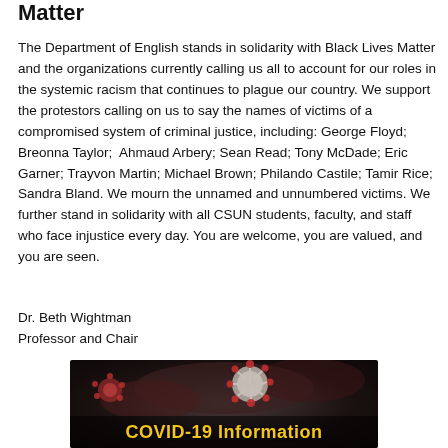Matter
The Department of English stands in solidarity with Black Lives Matter and the organizations currently calling us all to account for our roles in the systemic racism that continues to plague our country. We support the protestors calling on us to say the names of victims of a compromised system of criminal justice, including: George Floyd; Breonna Taylor; Ahmaud Arbery; Sean Read; Tony McDade; Eric Garner; Trayvon Martin; Michael Brown; Philando Castile; Tamir Rice; Sandra Bland. We mourn the unnamed and unnumbered victims. We further stand in solidarity with all CSUN students, faculty, and staff who face injustice every day. You are welcome, you are valued, and you are seen.
Dr. Beth Wightman
Professor and Chair
[Figure (photo): COVID-19 coronavirus image with dark background showing a coronavirus particle, with text overlay reading 'COVID-19 Information' in gold/yellow bold font]